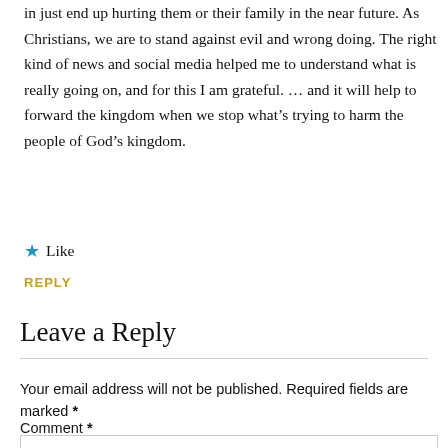in just end up hurting them or their family in the near future. As Christians, we are to stand against evil and wrong doing. The right kind of news and social media helped me to understand what is really going on, and for this I am grateful. … and it will help to forward the kingdom when we stop what's trying to harm the people of God's kingdom.
★ Like
REPLY
Leave a Reply
Your email address will not be published. Required fields are marked *
Comment *